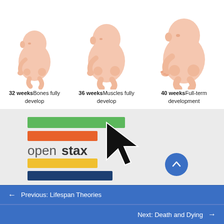[Figure (illustration): Three fetal development illustrations at 32, 36, and 40 weeks showing increasing size]
32 weeks
Bones fully develop
36 weeks
Muscles fully develop
40 weeks
Full-term development
[Figure (logo): OpenStax logo with colored horizontal bars (green, orange, yellow, navy) and cursor icon, plus scroll-to-top button]
← Previous: Lifespan Theories
Next: Death and Dying →